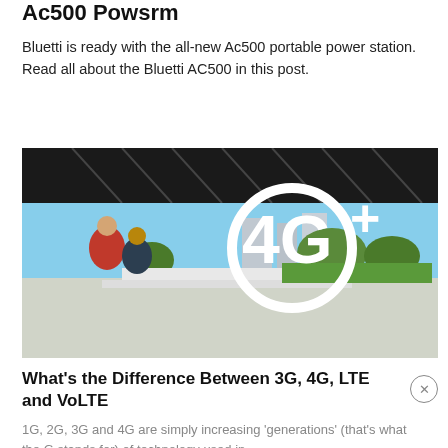Ac500 Powsrm
Bluetti is ready with the all-new Ac500 portable power station. Read all about the Bluetti AC500 in this post.
[Figure (photo): Outdoor photo showing two people sitting near a large white 4G+ logo sign structure, with a bridge canopy overhead and trees in the background.]
What's the Difference Between 3G, 4G, LTE and VoLTE
1G, 2G, 3G and 4G are simply increasing 'generations' (that's what the G stands for) of technology used in...